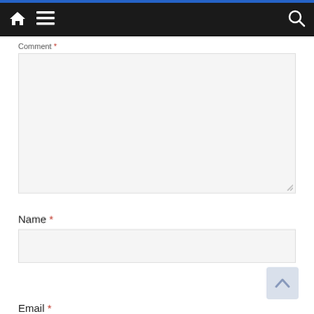Navigation bar with home icon, menu icon, and search icon
Comment *
[Figure (screenshot): Empty comment textarea input box with light gray background and resize handle]
Name *
[Figure (screenshot): Empty name text input field with light gray background]
Email *